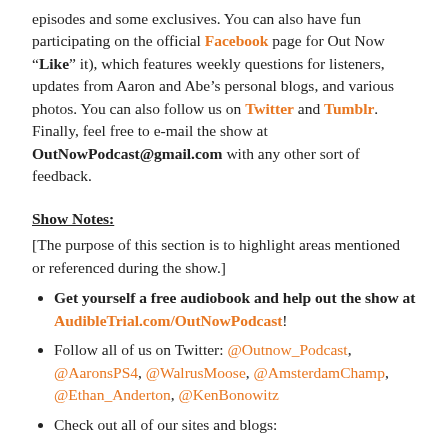episodes and some exclusives.  You can also have fun participating on the official Facebook page for Out Now (“Like” it), which features weekly questions for listeners, updates from Aaron and Abe’s personal blogs, and various photos.  You can also follow us on Twitter and Tumblr. Finally, feel free to e-mail the show at OutNowPodcast@gmail.com with any other sort of feedback.
Show Notes:
[The purpose of this section is to highlight areas mentioned or referenced during the show.]
Get yourself a free audiobook and help out the show at AudibleTrial.com/OutNowPodcast!
Follow all of us on Twitter: @Outnow_Podcast, @AaronsPS4, @WalrusMoose, @AmsterdamChamp, @Ethan_Anderton, @KenBonowitz
Check out all of our sites and blogs: